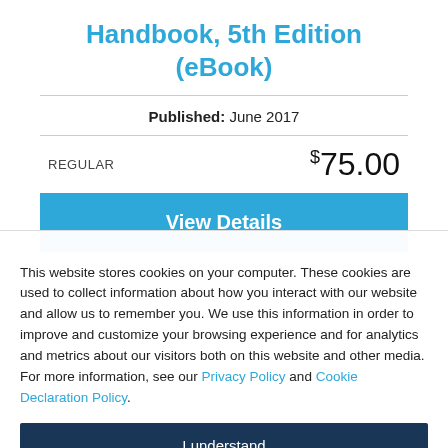Handbook, 5th Edition (eBook)
Published: June 2017
REGULAR   $75.00
View Details
This website stores cookies on your computer. These cookies are used to collect information about how you interact with our website and allow us to remember you. We use this information in order to improve and customize your browsing experience and for analytics and metrics about our visitors both on this website and other media. For more information, see our Privacy Policy and Cookie Declaration Policy.
I understand